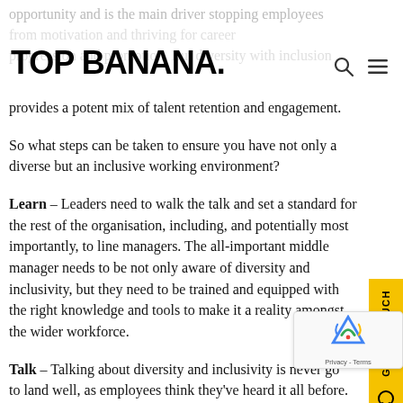TOP BANANA.
opportunity and is the main driver stopping employees from motivation and thriving for career progression and promotion. But diversity with inclusion provides a potent mix of talent retention and engagement.
So what steps can be taken to ensure you have not only a diverse but an inclusive working environment?
Learn – Leaders need to walk the talk and set a standard for the rest of the organisation, including, and potentially most importantly, to line managers. The all-important middle manager needs to be not only aware of diversity and inclusivity, but they need to be trained and equipped with the right knowledge and tools to make it a reality amongst the wider workforce.
Talk – Talking about diversity and inclusivity is never going to land well, as employees think they've heard it all before. Find 'champions' within the business and create forums, focus groups or feedback processes to give your